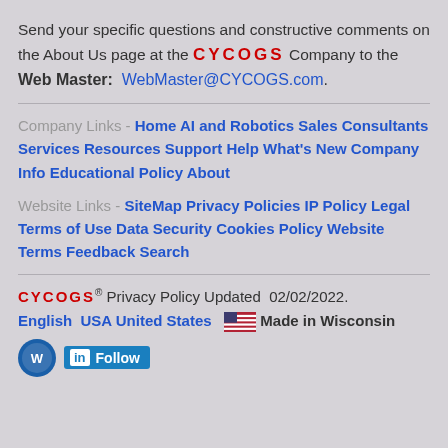Send your specific questions and constructive comments on the About Us page at the CYCOGS Company to the
Web Master:  WebMaster@CYCOGS.com.
Company Links - Home AI and Robotics Sales Consultants Services Resources Support Help What's New Company Info Educational Policy About
Website Links - SiteMap Privacy Policies IP Policy Legal Terms of Use Data Security Cookies Policy Website Terms Feedback Search
CYCOGS® Privacy Policy Updated  02/02/2022. English  USA United States  🇺🇸 Made in Wisconsin
[Figure (logo): Wisconsin badge icon and LinkedIn Follow button]